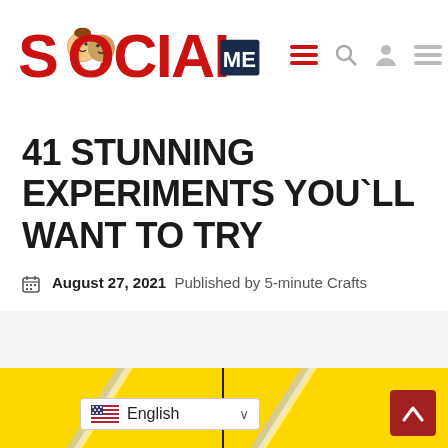SOCIAL ME
41 STUNNING EXPERIMENTS YOU`LL WANT TO TRY
August 27, 2021 Published by 5-minute Crafts
[Figure (screenshot): Bottom portion of a webpage showing a yellow background with black divider strip, part of a video thumbnail or image preview. A language selector showing 'English' with US flag and a red scroll-to-top button are overlaid.]